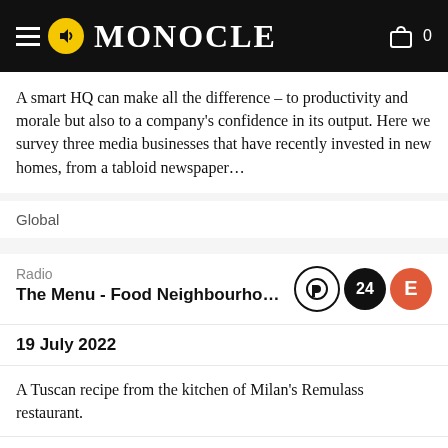MONOCLE
A smart HQ can make all the difference – to productivity and morale but also to a company's confidence in its output. Here we survey three media businesses that have recently invested in new homes, from a tabloid newspaper…
Global
Radio
The Menu - Food Neighbourhoods 2...
19 July 2022
A Tuscan recipe from the kitchen of Milan's Remulass restaurant.
Global
Entertaining